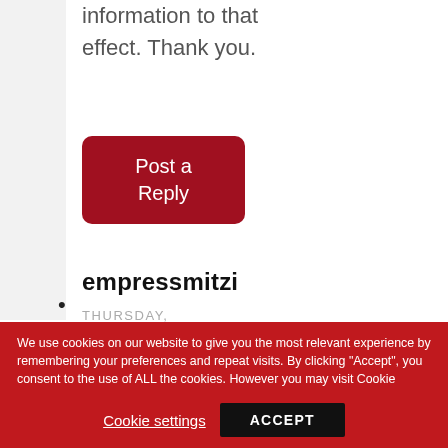information to that effect. Thank you.
[Figure (other): Red rounded button labeled 'Post a Reply']
empressmitzi
THURSDAY,
We use cookies on our website to give you the most relevant experience by remembering your preferences and repeat visits. By clicking "Accept", you consent to the use of ALL the cookies. However you may visit Cookie Settings to provide a controlled consent.
Cookie settings
ACCEPT